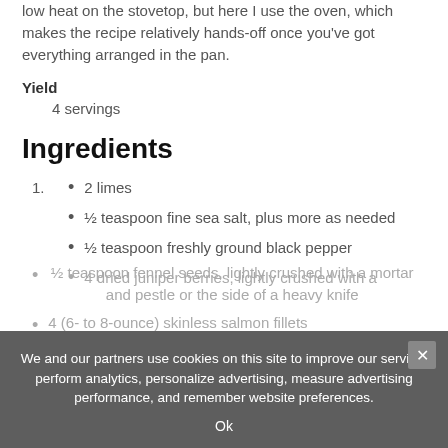low heat on the stovetop, but here I use the oven, which makes the recipe relatively hands-off once you've got everything arranged in the pan.
Yield
4 servings
Ingredients
2 limes
½ teaspoon fine sea salt, plus more as needed
½ teaspoon freshly ground black pepper
4 dried juniper berries, lightly crushed with a
½ teaspoon fennel seeds, lightly crushed with a mortar and pestle or the side of a heavy knife
4 (6- to 8-ounce) skinless salmon fillets
We and our partners use cookies on this site to improve our service, perform analytics, personalize advertising, measure advertising performance, and remember website preferences. Ok